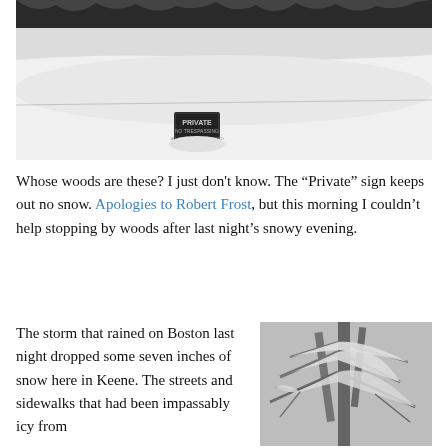[Figure (photo): Black and white photograph of a snow-covered field or clearing with a 'Private' sign partially buried in deep snow, trees visible in background]
Whose woods are these? I just don't know. The “Private” sign keeps out no snow. Apologies to Robert Frost, but this morning I couldn’t help stopping by woods after last night’s snowy evening.
The storm that rained on Boston last night dropped some seven inches of snow here in Keene. The streets and sidewalks that had been impassably icy from
[Figure (photo): Black and white photograph of snow-covered tree branches, misty winter forest scene]